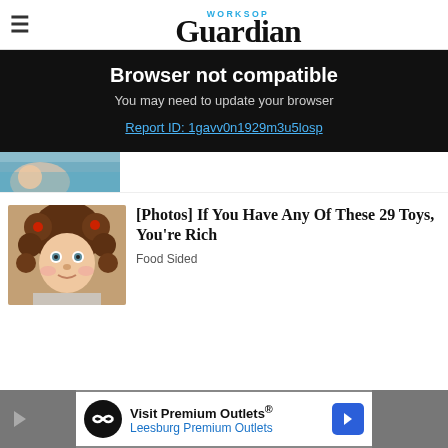Worksop Guardian
Browser not compatible
You may need to update your browser
Report ID: 1gavv0n1929m3u5losp
[Figure (photo): Partial view of a child in a teal shirt]
[Figure (photo): Cabbage Patch doll with brown curly hair]
[Photos] If You Have Any Of These 29 Toys, You're Rich
Food Sided
[Figure (photo): Advertisement banner: Visit Premium Outlets - Leesburg Premium Outlets]